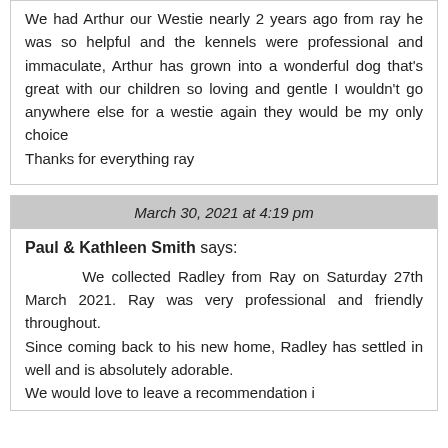We had Arthur our Westie nearly 2 years ago from ray he was so helpful and the kennels were professional and immaculate, Arthur has grown into a wonderful dog that's great with our children so loving and gentle I wouldn't go anywhere else for a westie again they would be my only choice
Thanks for everything ray
March 30, 2021 at 4:19 pm
Paul & Kathleen Smith says:
We collected Radley from Ray on Saturday 27th March 2021. Ray was very professional and friendly throughout.
Since coming back to his new home, Radley has settled in well and is absolutely adorable.
We would love to leave a recommendation i